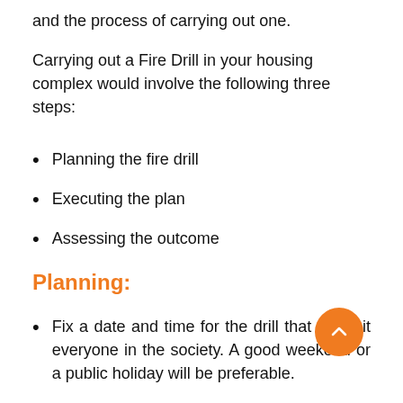and the process of carrying out one.
Carrying out a Fire Drill in your housing complex would involve the following three steps:
Planning the fire drill
Executing the plan
Assessing the outcome
Planning:
Fix a date and time for the drill that will suit everyone in the society. A good weekend or a public holiday will be preferable.
Inform all the members of the housing society about the importance of the drill, as many